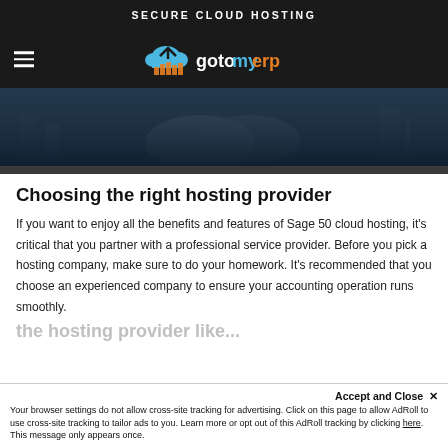SECURE CLOUD HOSTING
[Figure (screenshot): gotomyerp navigation bar with hamburger menu icon on left and logo (cloud with chart icon and 'gotomyerp' text) centered on dark background]
[Figure (photo): Hero image showing two people shaking hands in a business setting with a city background, dark toned]
Choosing the right hosting provider
If you want to enjoy all the benefits and features of Sage 50 cloud hosting, it’s critical that you partner with a professional service provider. Before you pick a hosting company, make sure to do your homework. It’s recommended that you choose an experienced company to ensure your accounting operation runs smoothly.
Accept and Close ×
Your browser settings do not allow cross-site tracking for advertising. Click on this page to allow AdRoll to use cross-site tracking to tailor ads to you. Learn more or opt out of this AdRoll tracking by clicking here. This message only appears once.